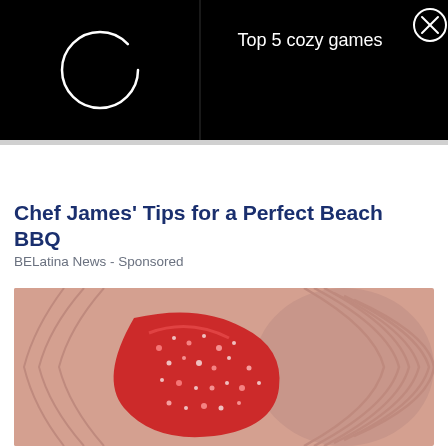[Figure (screenshot): Black ad banner with a loading spinner circle on the left half, and 'Top 5 cozy games' text with an X close button on the right half]
Chef James' Tips for a Perfect Beach BBQ
BELatina News - Sponsored
[Figure (photo): Close-up photo of fingers holding a red sugary gummy candy]